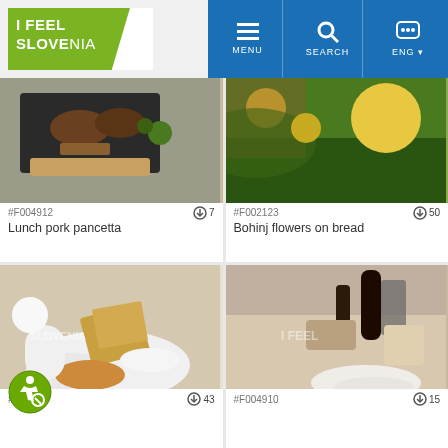[Figure (screenshot): I Feel Slovenia website header with green logo on left and blue navigation bar with MENU, SEARCH, ENG options on right]
[Figure (photo): Food photo: grilled meat on a dark board with green garnish - file #F004912, 7 downloads, titled Lunch pork pancetta]
[Figure (photo): Nature photo: flowers in a field, close-up - file #F002123, 50 downloads, titled Bohinj flowers on bread]
[Figure (photo): Food photo: cheese, bread, soup on white table setting with flowers - file #F...879, 43 downloads]
[Figure (photo): Food photo: outdoor table with soup bowl, pepper grinder, bottle - file #F004910, 15 downloads]